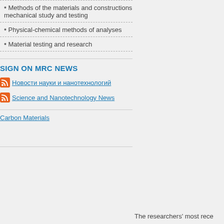Methods of the materials and constructions mechanical study and testing
Physical-chemical methods of analyses
Material testing and research
SIGN ON MRC NEWS
Новости науки и нанотехнологий
Science and Nanotechnology News
Carbon Materials
The researchers' most rece